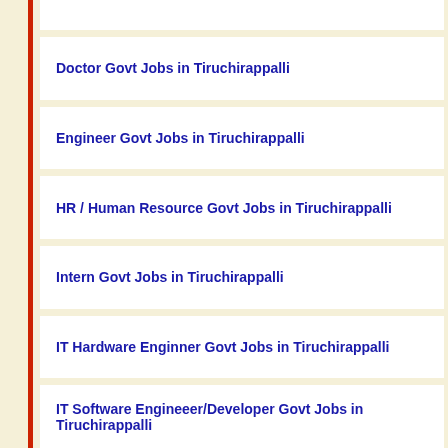Doctor Govt Jobs in Tiruchirappalli
Engineer Govt Jobs in Tiruchirappalli
HR / Human Resource Govt Jobs in Tiruchirappalli
Intern Govt Jobs in Tiruchirappalli
IT Hardware Enginner Govt Jobs in Tiruchirappalli
IT Software Engineeer/Developer Govt Jobs in Tiruchirappalli